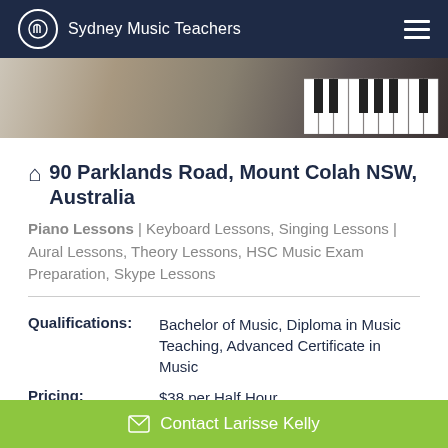Sydney Music Teachers
[Figure (photo): Partial photo showing a piano keyboard and a person's hand, with a light/beige background]
90 Parklands Road, Mount Colah NSW, Australia
Piano Lessons | Keyboard Lessons, Singing Lessons | Aural Lessons, Theory Lessons, HSC Music Exam Preparation, Skype Lessons
| Qualifications: | Bachelor of Music, Diploma in Music Teaching, Advanced Certificate in Music |
| Pricing: | $38 per Half Hour |
| Styles: | Classical, pop, etc. |
Contact Larisse Kelly